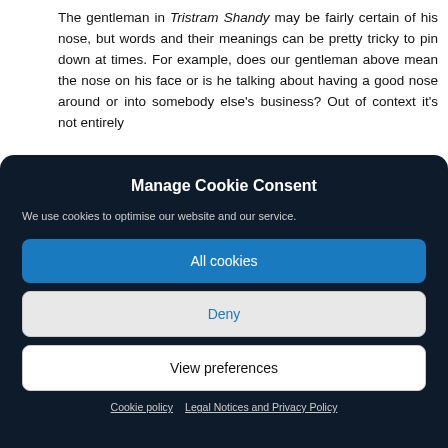The gentleman in Tristram Shandy may be fairly certain of his nose, but words and their meanings can be pretty tricky to pin down at times. For example, does our gentleman above mean the nose on his face or is he talking about having a good nose around or into somebody else's business? Out of context it's not entirely
Manage Cookie Consent
We use cookies to optimise our website and our service.
All cookies
Deny
View preferences
Cookie policy   Legal Notices and Privacy Policy